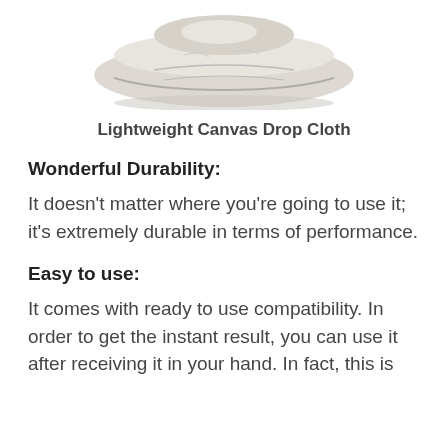[Figure (illustration): A rolled/folded lightweight canvas drop cloth, light gray/cream colored, viewed from above at an angle, showing the fabric texture and folds.]
Lightweight Canvas Drop Cloth
Wonderful Durability:
It doesn’t matter where you’re going to use it; it’s extremely durable in terms of performance.
Easy to use:
It comes with ready to use compatibility. In order to get the instant result, you can use it after receiving it in your hand. In fact, this is